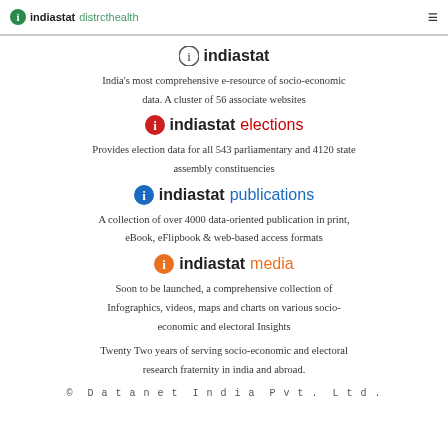indiastat district health
indiastat
India's most comprehensive e-resource of socio-economic data. A cluster of 56 associate websites
indiastat elections
Provides election data for all 543 parliamentary and 4120 state assembly constituencies
indiastat publications
A collection of over 4000 data-oriented publication in print, eBook, eFlipbook & web-based access formats
indiastat media
Soon to be launched, a comprehensive collection of Infographics, videos, maps and charts on various socio-economic and electoral Insights
Twenty Two years of serving socio-economic and electoral research fraternity in india and abroad.
© Datanet India Pvt. Ltd.